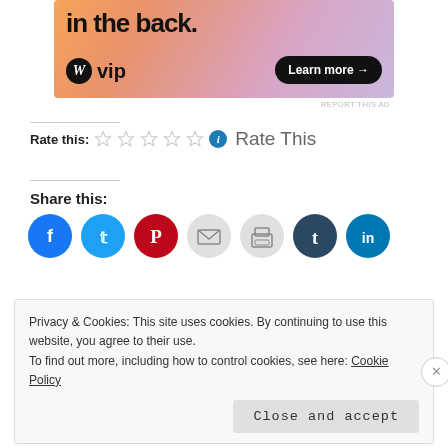[Figure (illustration): WordPress VIP advertisement banner with gradient orange-pink-purple background, showing bold text 'in the back.' at top, WordPress logo circle with 'W', 'vip' text, and a dark 'Learn more →' button]
REPORT THIS AD
Rate this:  ☆ ☆ ☆ ☆ ☆  ℹ  Rate This
Share this:
[Figure (infographic): Row of social share icon circles: Facebook (blue), Twitter (light blue), Pinterest (red), Email (light gray), Print (light gray), Tumblr (dark navy), LinkedIn (blue)]
Privacy & Cookies: This site uses cookies. By continuing to use this website, you agree to their use.
To find out more, including how to control cookies, see here: Cookie Policy
Close and accept